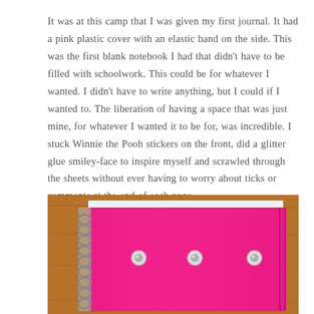It was at this camp that I was given my first journal. It had a pink plastic cover with an elastic band on the side. This was the first blank notebook I had that didn't have to be filled with schoolwork. This could be for whatever I wanted. I didn't have to write anything, but I could if I wanted to. The liberation of having a space that was just mine, for whatever I wanted it to be for, was incredible. I stuck Winnie the Pooh stickers on the front, did a glitter glue smiley-face to inspire myself and scrawled through the sheets without ever having to worry about ticks or comments at the end of each page.
[Figure (photo): A pink spiral-bound notebook with a bright pink plastic cover sitting on a wooden surface. The notebook has metal spiral binding on the left side and decorative studs/rivets on the cover. A pink elastic band is visible on the right side.]